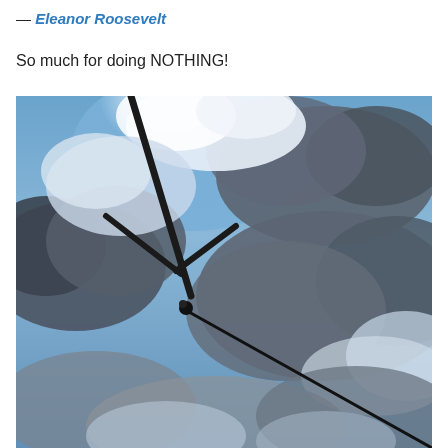— Eleanor Roosevelt
So much for doing NOTHING!
[Figure (photo): Upward-looking photograph of a dramatic cloudy sky with blue patches. A dark silhouetted metal structure (pole/antenna with branching arms and a wire/cable stretching diagonally) is visible against the sky. Clouds range from bright white to dark grey, with sunlight breaking through near the top center.]